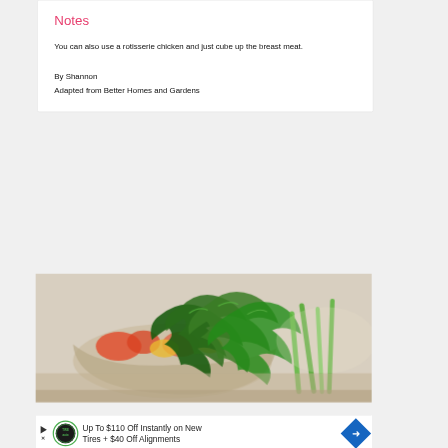Notes
You can also use a rotisserie chicken and just cube up the breast meat.
By Shannon
Adapted from Better Homes and Gardens
[Figure (photo): Blurred close-up photo of a fresh salad with green leafy vegetables and colorful ingredients in a bowl]
Up To $110 Off Instantly on New Tires + $40 Off Alignments